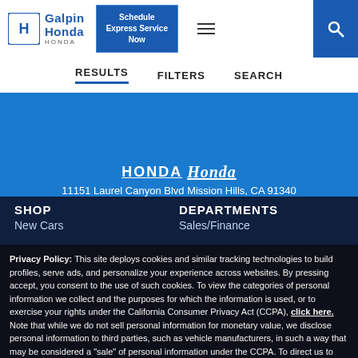[Figure (logo): Galpin Honda logo with Honda wing emblem and blue text]
[Figure (screenshot): Schedule Express Service Now button]
RESULTS  FILTERS  SEARCH
HONDA Galpin Honda
11151 Laurel Canyon Blvd Mission Hills, CA 91340
SHOP
DEPARTMENTS
New Cars
Sales/Finance
Privacy Policy: This site deploys cookies and similar tracking technologies to build profiles, serve ads, and personalize your experience across websites. By pressing accept, you consent to the use of such cookies. To view the categories of personal information we collect and the purposes for which the information is used, or to exercise your rights under the California Consumer Privacy Act (CCPA), click here. Note that while we do not sell personal information for monetary value, we disclose personal information to third parties, such as vehicle manufacturers, in such a way that may be considered a "sale" of personal information under the CCPA. To direct us to stop the sale of your personal information, or to re-access these settings or disclosures at anytime, click the following icon or link:
Do Not Sell My Personal Information
Language: English
Powered by ComplyAuto
Accept and Continue →
California Privacy Disclosures